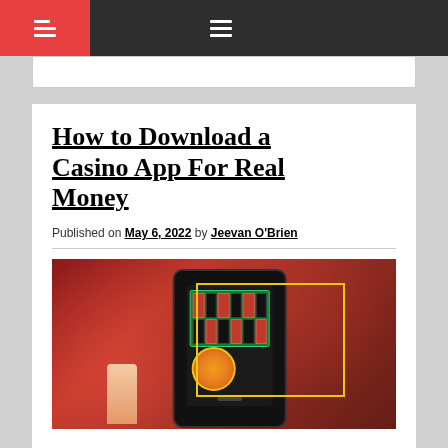Navigation bar with hamburger menus
How to Download a Casino App For Real Money
Published on May 6, 2022 by Jeevan O'Brien
[Figure (photo): A hand holding a smartphone displaying a casino roulette app, with casino chips in the background. A yellow rectangle outline is overlaid on the phone screen area.]